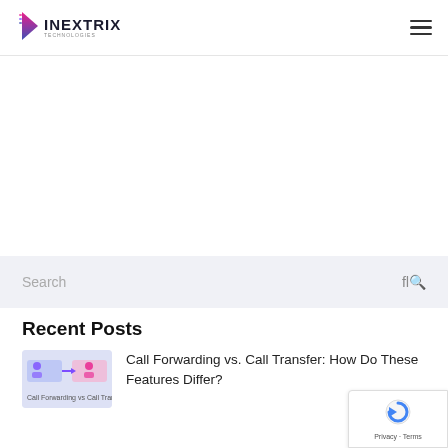Inextrix Technologies
Search
Recent Posts
[Figure (illustration): Thumbnail image for blog post about Call Forwarding vs Call Transfer]
Call Forwarding vs. Call Transfer: How Do These Features Differ?